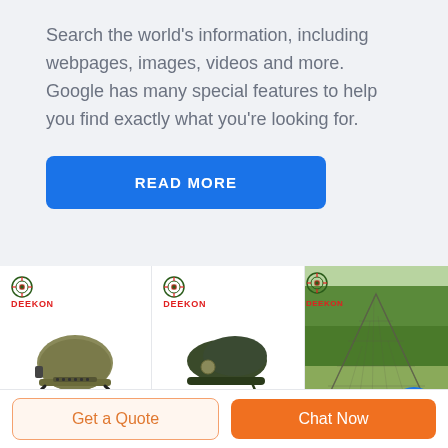Search the world's information, including webpages, images, videos and more. Google has many special features to help you find exactly what you're looking for.
[Figure (screenshot): Blue 'READ MORE' button]
[Figure (photo): Three product cards from DEEKON brand: a tactical military helmet (olive green), a military beret (dark green), and a mosquito net tent on grass, with a blue scroll-up button overlay on the third card.]
Get a Quote
Chat Now